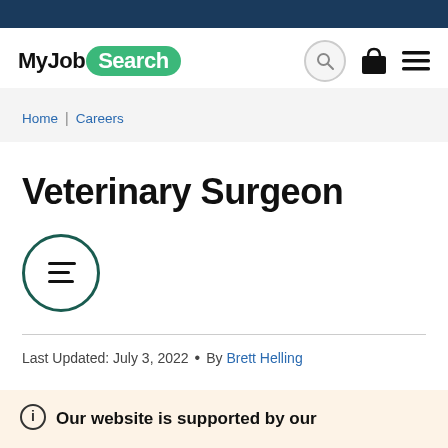MyJobSearch
Home | Careers
Veterinary Surgeon
[Figure (illustration): Table of contents icon: circle with three horizontal lines inside]
Last Updated: July 3, 2022 • By Brett Helling
Our website is supported by our